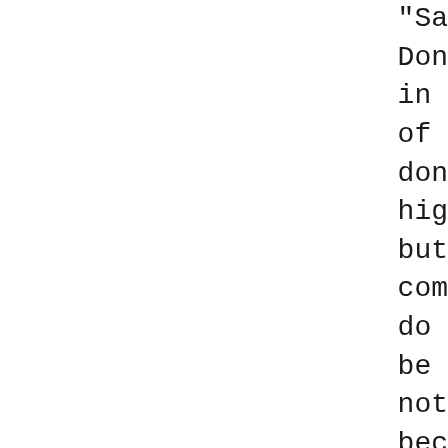"Sa
Don
in 
of 
don
hig
but
com
do 
be 
not
bec
peo
cal
\_